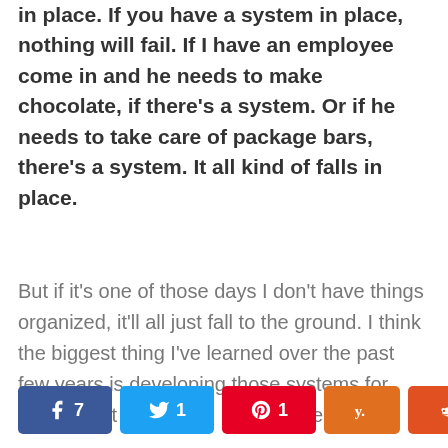in place. If you have a system in place, nothing will fail. If I have an employee come in and he needs to make chocolate, if there's a system. Or if he needs to take care of package bars, there's a system. It all kind of falls in place.
But if it's one of those days I don't have things organized, it'll all just fall to the ground. I think the biggest thing I've learned over the past few years is developing those systems for people that need it, so I don't have to be